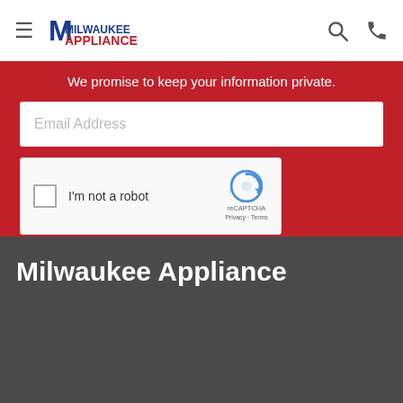Milwaukee Appliance
We promise to keep your information private.
[Figure (screenshot): Email Address input field (white, placeholder text)]
[Figure (screenshot): reCAPTCHA checkbox widget with 'I'm not a robot' text, reCAPTCHA logo, Privacy and Terms links]
[Figure (screenshot): Sign Me Up button (dark gray)]
Milwaukee Appliance